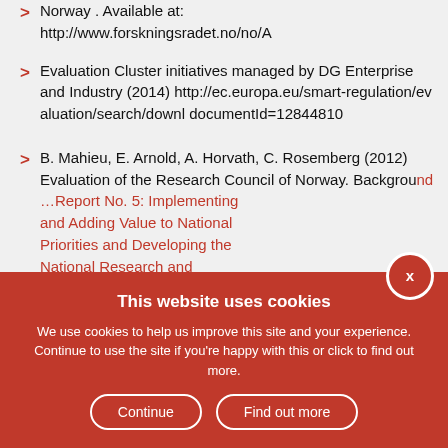Norway. Available at: http://www.forskningsradet.no/no/A
Evaluation Cluster initiatives managed by DG Enterprise and Industry (2014) http://ec.europa.eu/smart-regulation/evaluation/search/download.do?documentId=12844810
B. Mahieu, E. Arnold, A. Horvath, C. Rosemberg (2012) Evaluation of the Research Council of Norway. Background Report No. 5: Implementing and Adding Value to National Priorities and Developing the National Research and Innovation Systems. Available at: https://www.researchresearch...
This website uses cookies
We use cookies to help us improve this site and your experience. Continue to use the site if you're happy with this or click to find out more.